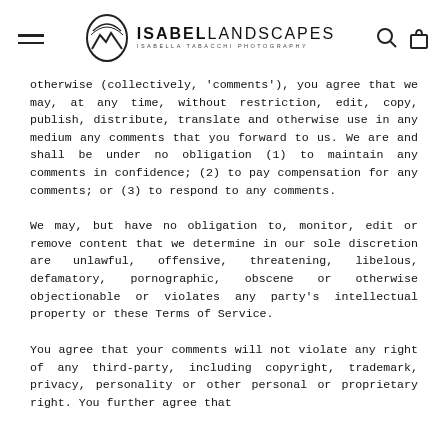ISABELLANDSCAPES — ISABELLA TABACCHI PHOTOGRAPHY
otherwise (collectively, 'comments'), you agree that we may, at any time, without restriction, edit, copy, publish, distribute, translate and otherwise use in any medium any comments that you forward to us. We are and shall be under no obligation (1) to maintain any comments in confidence; (2) to pay compensation for any comments; or (3) to respond to any comments.
We may, but have no obligation to, monitor, edit or remove content that we determine in our sole discretion are unlawful, offensive, threatening, libelous, defamatory, pornographic, obscene or otherwise objectionable or violates any party's intellectual property or these Terms of Service.
You agree that your comments will not violate any right of any third-party, including copyright, trademark, privacy, personality or other personal or proprietary right. You further agree that